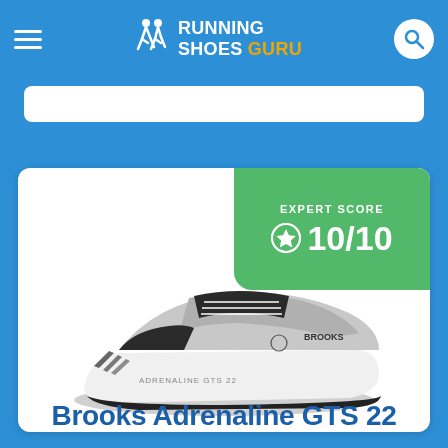Running Shoes Guru
[Figure (screenshot): Running Shoes Guru website header with hamburger menu, logo, and search icon on blue background]
[Figure (photo): Brooks Adrenaline GTS 22 running shoe in grey and black, side view, with Expert Score badge showing 10/10]
Brooks Adrenaline GTS 22